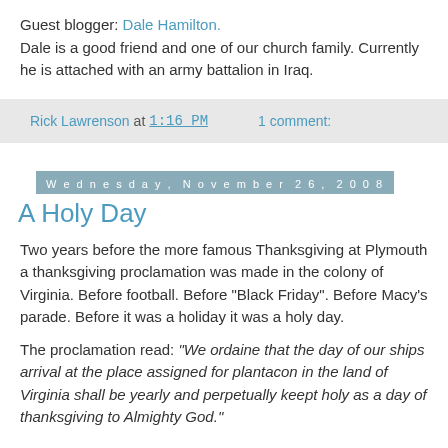Guest blogger: Dale Hamilton. Dale is a good friend and one of our church family. Currently he is attached with an army battalion in Iraq.
Rick Lawrenson at 1:16 PM    1 comment:
Wednesday, November 26, 2008
A Holy Day
Two years before the more famous Thanksgiving at Plymouth a thanksgiving proclamation was made in the colony of Virginia. Before football. Before "Black Friday". Before Macy's parade. Before it was a holiday it was a holy day.
The proclamation read: "We ordaine that the day of our ships arrival at the place assigned for plantacon in the land of Virginia shall be yearly and perpetually keept holy as a day of thanksgiving to Almighty God."